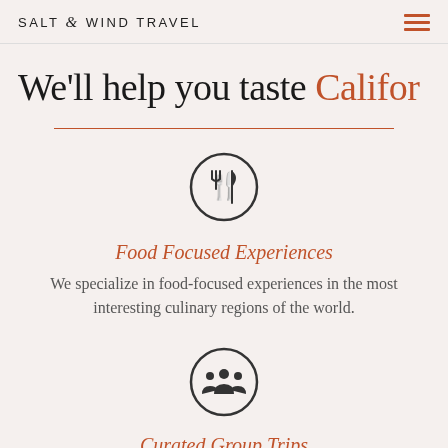SALT & WIND TRAVEL
We'll help you taste Califor
[Figure (illustration): Circular icon with fork and knife utensils inside]
Food Focused Experiences
We specialize in food-focused experiences in the most interesting culinary regions of the world.
[Figure (illustration): Circular icon with group of people silhouettes inside]
Curated Group Trips